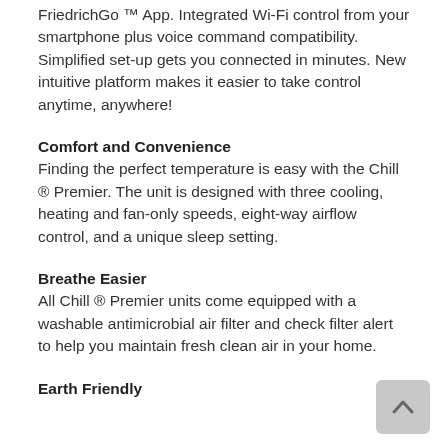FriedrichGo ™ App. Integrated Wi-Fi control from your smartphone plus voice command compatibility. Simplified set-up gets you connected in minutes. New intuitive platform makes it easier to take control anytime, anywhere!
Comfort and Convenience
Finding the perfect temperature is easy with the Chill ® Premier. The unit is designed with three cooling, heating and fan-only speeds, eight-way airflow control, and a unique sleep setting.
Breathe Easier
All Chill ® Premier units come equipped with a washable antimicrobial air filter and check filter alert to help you maintain fresh clean air in your home.
Earth Friendly